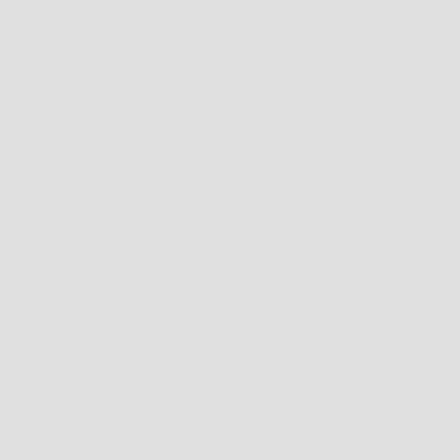The male characters of "The O[rphans]" mend them to our sympathy. Cha[stalio is placed] upon a naked beach, although the part was played by [a woman in] earlier years, has little to do with [the working] of the plot, shocks us by his ruffi[anism and cruelty] to the good Acasto, and rages an[d storms with] vehemence upon the smallest pro[vocation]; Polydore naturally excites o[ur sympathy,] and until affliction has fallen upo[n him, he] does not stand high in our esteem[.] Monimia is a creation of fema[le genius fit] to stand by the side of DesdeAnd[emona, and] to give her higher ing." go beyond the awful destiny whi[ch pursues] and innocent victim. That reply a[nd the] nineteenth dore, and now with a[n] art Otway makes Castalio turn a[way]